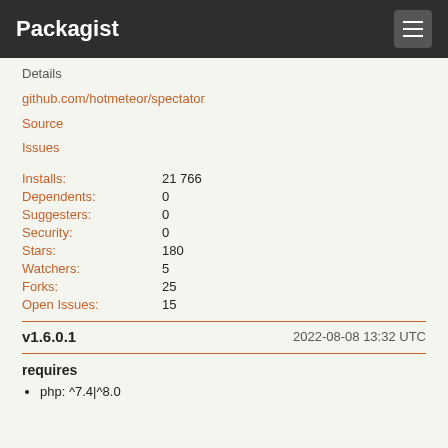Packagist
Details
github.com/hotmeteor/spectator
Source
Issues
| Label | Value |
| --- | --- |
| Installs: | 21 766 |
| Dependents: | 0 |
| Suggesters: | 0 |
| Security: | 0 |
| Stars: | 180 |
| Watchers: | 5 |
| Forks: | 25 |
| Open Issues: | 15 |
v1.6.0.1
2022-08-08 13:32 UTC
requires
php: ^7.4|^8.0